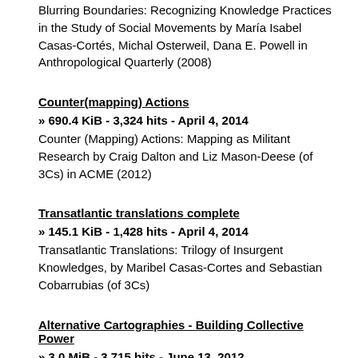Blurring Boundaries: Recognizing Knowledge Practices in the Study of Social Movements by María Isabel Casas-Cortés, Michal Osterweil, Dana E. Powell in Anthropological Quarterly (2008)
Counter(mapping) Actions
» 690.4 KiB - 3,324 hits - April 4, 2014
Counter (Mapping) Actions: Mapping as Militant Research by Craig Dalton and Liz Mason-Deese (of 3Cs) in ACME (2012)
Transatlantic translations complete
» 145.1 KiB - 1,428 hits - April 4, 2014
Transatlantic Translations: Trilogy of Insurgent Knowledges, by Maribel Casas-Cortes and Sebastian Cobarrubias (of 3Cs)
Alternative Cartographies - Building Collective Power
» 3.0 MiB - 3,715 hits - June 13, 2012